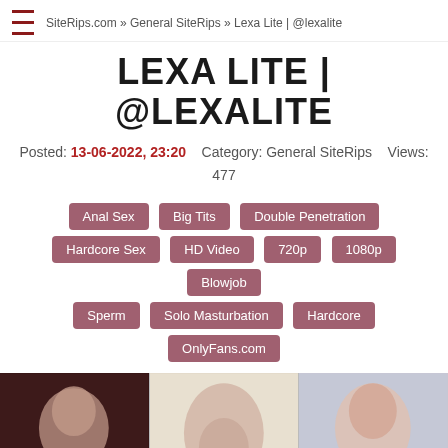SiteRips.com » General SiteRips » Lexa Lite | @lexalite
LEXA LITE | @LEXALITE
Posted: 13-06-2022, 23:20   Category: General SiteRips   Views: 477
Anal Sex
Big Tits
Double Penetration
Hardcore Sex
HD Video
720p
1080p
Blowjob
Sperm
Solo Masturbation
Hardcore
OnlyFans.com
[Figure (photo): Three thumbnail images side by side showing adult content]